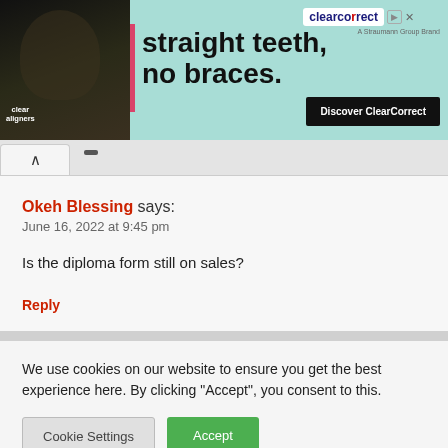[Figure (photo): Advertisement banner for ClearCorrect clear aligners showing a smiling person, teal background with text 'straight teeth, no braces.' and a 'Discover ClearCorrect' button]
Okeh Blessing says:
June 16, 2022 at 9:45 pm

Is the diploma form still on sales?

Reply
We use cookies on our website to ensure you get the best experience here. By clicking "Accept", you consent to this.